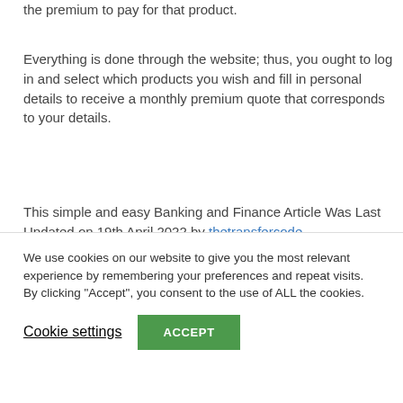the premium to pay for that product.
Everything is done through the website; thus, you ought to log in and select which products you wish and fill in personal details to receive a monthly premium quote that corresponds to your details.
This simple and easy Banking and Finance Article Was Last Updated on 19th April 2022 by thetransfercode
We use cookies on our website to give you the most relevant experience by remembering your preferences and repeat visits. By clicking "Accept", you consent to the use of ALL the cookies.
Cookie settings
ACCEPT